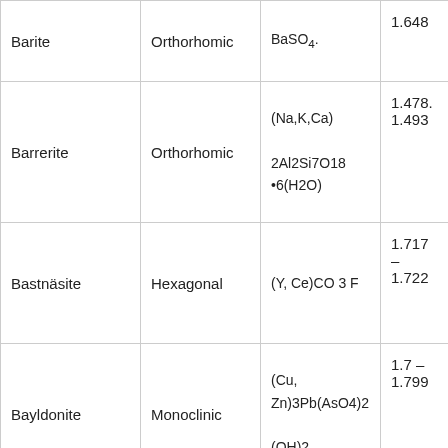| Mineral | Crystal System | Formula | RI |
| --- | --- | --- | --- |
| Barite | Orthorhomic | BaSO4. | 1.648 |
| Barrerite | Orthorhomic | (Na,K,Ca) 2Al2Si7O18 •6(H2O) | 1.478. 1.493 |
| Bastnäsite | Hexagonal | (Y, Ce)CO 3 F | 1.717 – 1.722 |
| Bayldonite | Monoclinic | (Cu, Zn)3Pb(AsO4)2 (OH)2 | 1.7 – 1.799 |
|  |  | Cu3Pb(AsO4) |  |